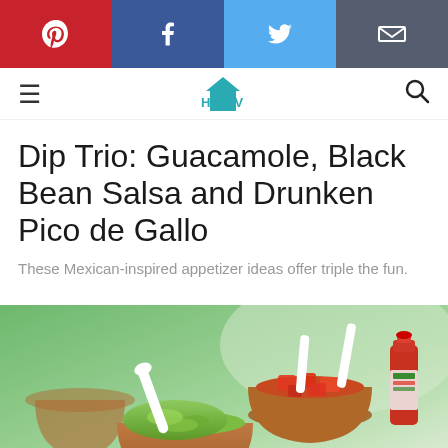[Figure (screenshot): Social media sharing bar with Pinterest (red), Facebook (blue), Twitter (light blue), and Email (dark grey) buttons]
[Figure (logo): HGTV logo in teal with house icon above the letters]
Dip Trio: Guacamole, Black Bean Salsa and Drunken Pico de Gallo
These Mexican-inspired appetizer ideas offer triple the fun.
[Figure (photo): Photo of three small clay flower pots filled with dips — guacamole in foreground, salsa with red tomatoes in middle, and a hot sauce bottle on the right, with white plastic spoons, set against a green blurred background]